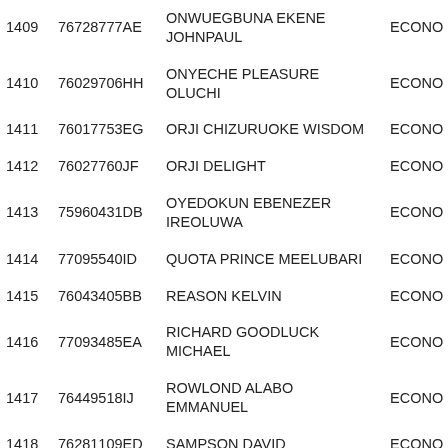| # | ID | Name | Dept |
| --- | --- | --- | --- |
| 1409 | 76728777AE | ONWUEGBUNA EKENE JOHNPAUL | ECONO |
| 1410 | 76029706HH | ONYECHE PLEASURE OLUCHI | ECONO |
| 1411 | 76017753EG | ORJI CHIZURUOKE WISDOM | ECONO |
| 1412 | 76027760JF | ORJI DELIGHT | ECONO |
| 1413 | 75960431DB | OYEDOKUN EBENEZER IREOLUWA | ECONO |
| 1414 | 77095540ID | QUOTA PRINCE MEELUBARI | ECONO |
| 1415 | 76043405BB | REASON KELVIN | ECONO |
| 1416 | 77093485EA | RICHARD GOODLUCK MICHAEL | ECONO |
| 1417 | 76449518IJ | ROWLOND ALABO EMMANUEL | ECONO |
| 1418 | 76281109ED | SAMPSON DAVID | ECONO |